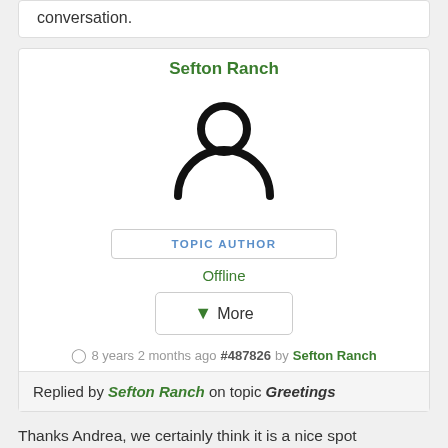conversation.
Sefton Ranch
[Figure (illustration): Generic user avatar icon — circle head above a half-circle body outline, black stroke on white background]
TOPIC AUTHOR
Offline
↓More
8 years 2 months ago #487826 by Sefton Ranch
Replied by Sefton Ranch on topic Greetings
Thanks Andrea, we certainly think it is a nice spot